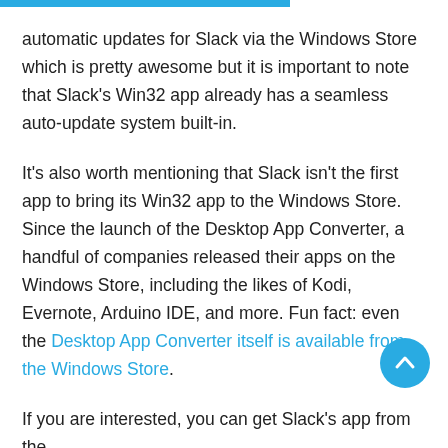automatic updates for Slack via the Windows Store which is pretty awesome but it is important to note that Slack's Win32 app already has a seamless auto-update system built-in.
It's also worth mentioning that Slack isn't the first app to bring its Win32 app to the Windows Store. Since the launch of the Desktop App Converter, a handful of companies released their apps on the Windows Store, including the likes of Kodi, Evernote, Arduino IDE, and more. Fun fact: even the Desktop App Converter itself is available from the Windows Store.
If you are interested, you can get Slack's app from the